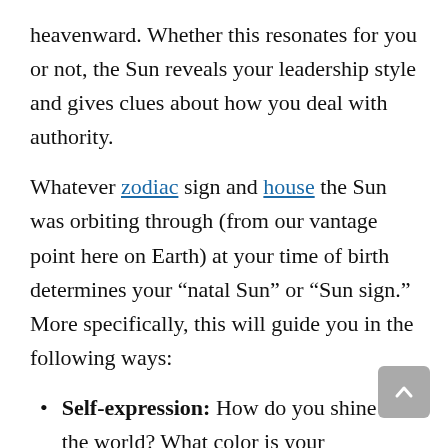heavenward. Whether this resonates for you or not, the Sun reveals your leadership style and gives clues about how you deal with authority.
Whatever zodiac sign and house the Sun was orbiting through (from our vantage point here on Earth) at your time of birth determines your “natal Sun” or “Sun sign.” More specifically, this will guide you in the following ways:
Self-expression: How do you shine to the world? What color is your parachute?
Creativity: What ways do you like to be creative and playful?
Passion: What are you passionate about pursuing or expressing?